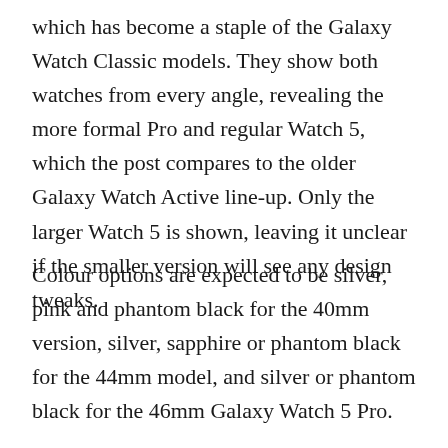which has become a staple of the Galaxy Watch Classic models. They show both watches from every angle, revealing the more formal Pro and regular Watch 5, which the post compares to the older Galaxy Watch Active line-up. Only the larger Watch 5 is shown, leaving it unclear if the smaller version will see any design tweaks.
Colour options are expected to be silver, pink and phantom black for the 40mm version, silver, sapphire or phantom black for the 44mm model, and silver or phantom black for the 46mm Galaxy Watch 5 Pro.